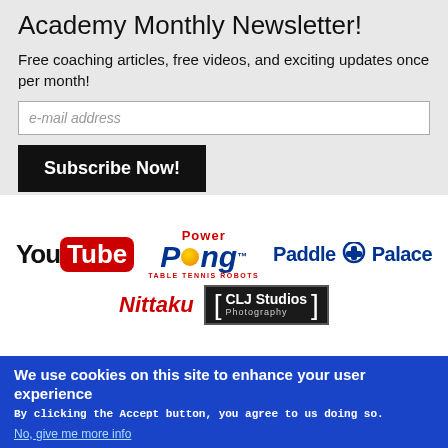Academy Monthly Newsletter!
Free coaching articles, free videos, and exciting updates once per month!
[Figure (logo): Email subscription form with e-mail address input field and Subscribe Now button]
[Figure (logo): YouTube logo]
[Figure (logo): Power Pong Table Tennis Robots logo]
[Figure (logo): Paddle Palace logo]
[Figure (logo): Nittaku logo]
[Figure (logo): CLJ Studios Photography logo]
[Figure (photo): Photo of table tennis players and coach]
We use cookies on this site to enhance your user experience
By clicking the Accept button, you agree to us doing so.
No, give me more info